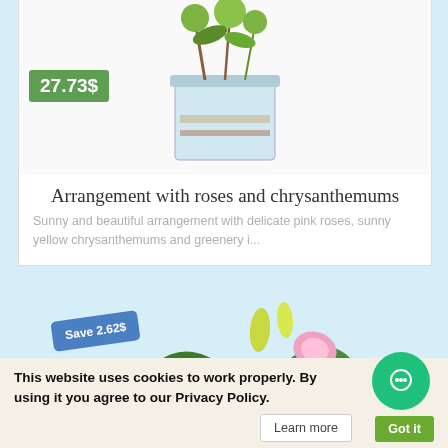[Figure (photo): Flower arrangement in glass vase with green chrysanthemums visible at top, with price badge showing 27.73$]
Arrangement with roses and chrysanthemums
Sunny and beautiful arrangement with delicate pink roses, sunny yellow chrysanthemums and greenery i...
[Figure (photo): Bouquet of pink lilies and white flowers with Save 2.62$ badge, watermarked BGFlorist]
This website uses cookies to work properly. By using it you agree to our Privacy Policy.
Learn more
Got it